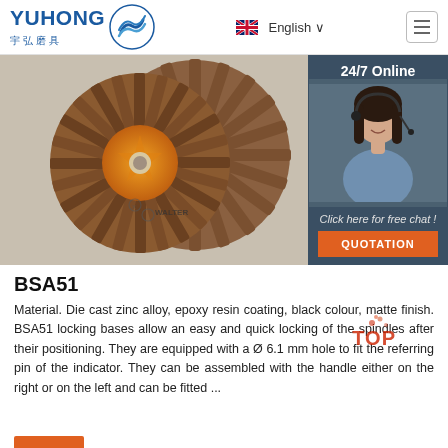[Figure (logo): Yuhong 宇弘磨具 logo with blue wave icon]
[Figure (photo): Two orange flap disc grinding wheels (Walter brand) overlapping each other on grey background]
[Figure (photo): 24/7 Online chat panel with female customer service agent wearing headset, dark blue-grey background, with 'Click here for free chat!' text and orange QUOTATION button]
BSA51
Material. Die cast zinc alloy, epoxy resin coating, black colour, matte finish. BSA51 locking bases allow an easy and quick locking of the spindles after their positioning. They are equipped with a Ø 6.1 mm hole to fit the referring pin of the indicator. They can be assembled with the handle either on the right or on the left and can be fitted ...